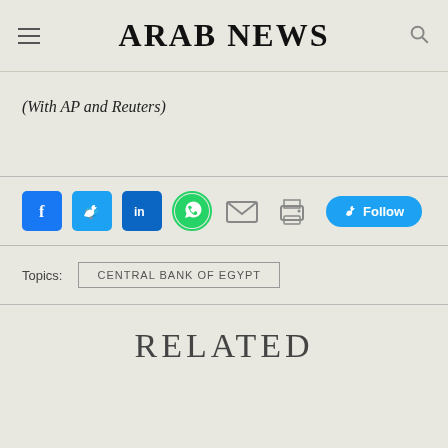ARAB NEWS
(With AP and Reuters)
[Figure (infographic): Social media share bar with Facebook, Twitter, LinkedIn, WhatsApp, Email, Print icons and a Twitter Follow button]
Topics: CENTRAL BANK OF EGYPT
RELATED